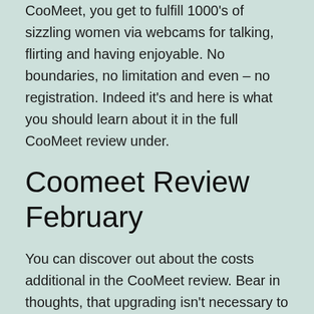CooMeet, you get to fulfill 1000's of sizzling women via webcams for talking, flirting and having enjoyable. No boundaries, no limitation and even – no registration. Indeed it's and here is what you should learn about it in the full CooMeet review under.
Coomeet Review February
You can discover out about the costs additional in the CooMeet review. Bear in thoughts, that upgrading isn't necessary to have cam chats